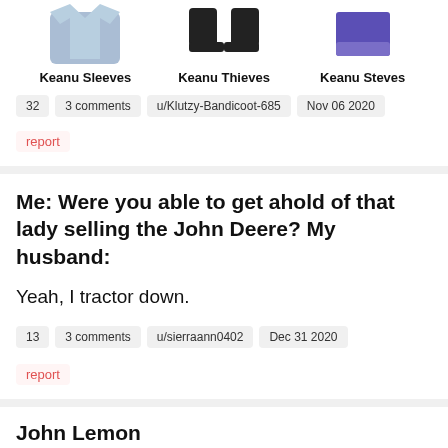[Figure (photo): Three product images in a row: a blue shirt (Keanu Sleeves), a pair of black boots (Keanu Thieves), and a purple rectangular item (Keanu Steves)]
Keanu Sleeves
Keanu Thieves
Keanu Steves
32   3 comments   u/Klutzy-Bandicoot-685   Nov 06 2020
report
Me: Were you able to get ahold of that lady selling the John Deere? My husband:
Yeah, I tractor down.
13   3 comments   u/sierraann0402   Dec 31 2020
report
John Lemon